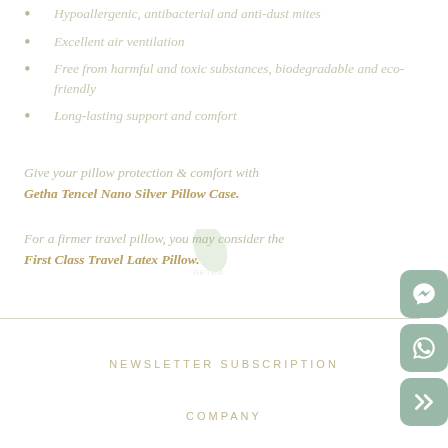Hypoallergenic, antibacterial and anti-dust mites
Excellent air ventilation
Free from harmful and toxic substances, biodegradable and eco-friendly
Long-lasting support and comfort
Give your pillow protection & comfort with Getha Tencel Nano Silver Pillow Case.
For a firmer travel pillow, you may consider the First Class Travel Latex Pillow.
NEWSLETTER SUBSCRIPTION
COMPANY